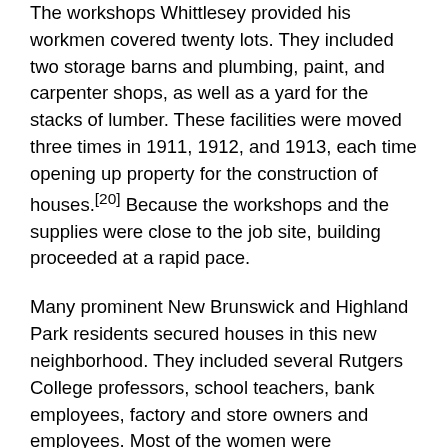The workshops Whittlesey provided his workmen covered twenty lots. They included two storage barns and plumbing, paint, and carpenter shops, as well as a yard for the stacks of lumber. These facilities were moved three times in 1911, 1912, and 1913, each time opening up property for the construction of houses.[20] Because the workshops and the supplies were close to the job site, building proceeded at a rapid pace.
Many prominent New Brunswick and Highland Park residents secured houses in this new neighborhood. They included several Rutgers College professors, school teachers, bank employees, factory and store owners and employees. Most of the women were housewives and mothers. There were many extended families. Some families took in boarders and several households included live-in servants. The development became so popular that beginning in 1910, the local newspaper's social column changed